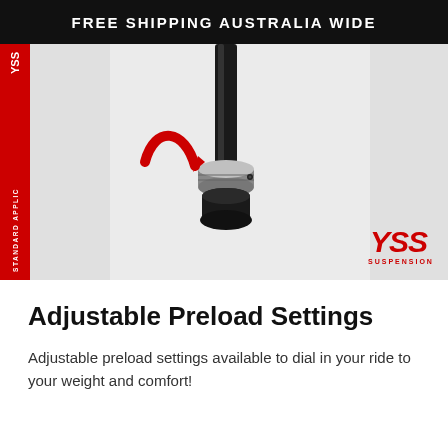FREE SHIPPING AUSTRALIA WIDE
[Figure (photo): YSS suspension shock absorber with red arrow pointing to adjustable preload collar. Red vertical side bar with 'YSS' and 'STANDARD APPLIC' text. YSS Suspension logo in bottom right corner of image.]
Adjustable Preload Settings
Adjustable preload settings available to dial in your ride to your weight and comfort!